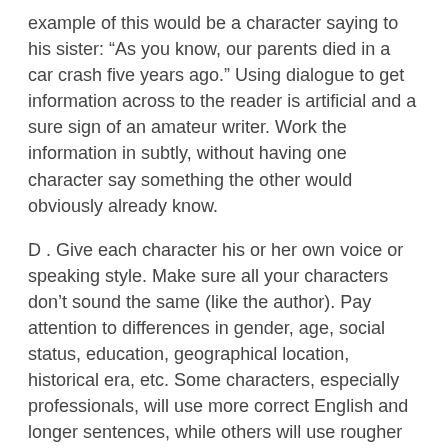example of this would be a character saying to his sister: “As you know, our parents died in a car crash five years ago.” Using dialogue to get information across to the reader is artificial and a sure sign of an amateur writer. Work the information in subtly, without having one character say something the other would obviously already know.
D . Give each character his or her own voice or speaking style. Make sure all your characters don’t sound the same (like the author). Pay attention to differences in gender, age, social status, education, geographical location, historical era, etc. Some characters, especially professionals, will use more correct English and longer sentences, while others will use rougher language, with a lot of one or two-word questions or answers. Men tend to be more direct and to the point in conversation, often using very brief   answers, while women tend to use more complete sentences and often want to discuss their feelings.
Think about individual personality differences within that social group and the situation. Is your character: Shy or outgoing? Talkative or quiet? Formal or casual? Modern or